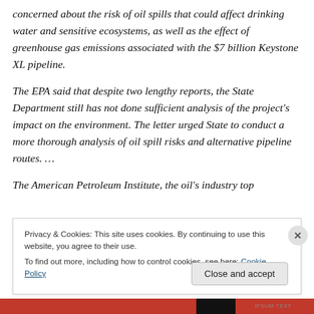concerned about the risk of oil spills that could affect drinking water and sensitive ecosystems, as well as the effect of greenhouse gas emissions associated with the $7 billion Keystone XL pipeline.
The EPA said that despite two lengthy reports, the State Department still has not done sufficient analysis of the project's impact on the environment. The letter urged State to conduct a more thorough analysis of oil spill risks and alternative pipeline routes. …
The American Petroleum Institute, the oil's industry top
Privacy & Cookies: This site uses cookies. By continuing to use this website, you agree to their use.
To find out more, including how to control cookies, see here: Cookie Policy